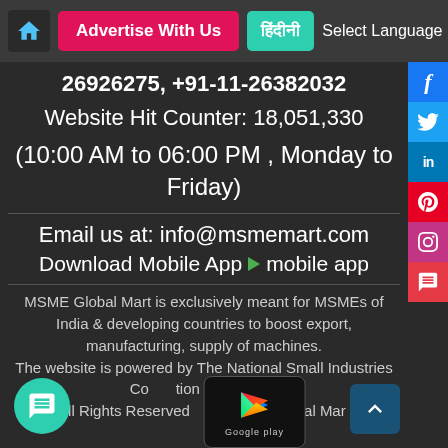Advertise With Us | हिंदी | Select Language
26926275, +91-11-26382032
Website Hit Counter: 18,051,330
(10:00 AM to 06:00 PM , Monday to Friday)
Email us at: info@msmemart.com
Download Mobile App mobile app
MSME Global Mart is exclusively meant for MSMEs of India & developing countries to boost export, manufacturing, supply of machines. The website is powered by The National Small Industries Corporation Ltd. - NSIC All Rights Reserved 2 MSME Global Mart